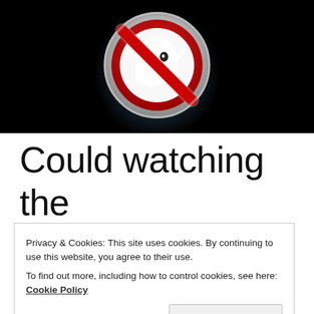[Figure (logo): Ghostbusters logo — a cartoon ghost inside a red no-sign circle, metallic silver styling, on a dark background with blue smoke/mist.]
Could watching the remake before the it more:
Privacy & Cookies: This site uses cookies. By continuing to use this website, you agree to their use.
To find out more, including how to control cookies, see here: Cookie Policy
Close and accept